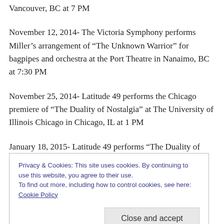Vancouver, BC at 7 PM
November 12, 2014- The Victoria Symphony performs Miller’s arrangement of “The Unknown Warrior” for bagpipes and orchestra at the Port Theatre in Nanaimo, BC at 7:30 PM
November 25, 2014- Latitude 49 performs the Chicago premiere of “The Duality of Nostalgia” at The University of Illinois Chicago in Chicago, IL at 1 PM
January 18, 2015- Latitude 49 performs “The Duality of
Privacy & Cookies: This site uses cookies. By continuing to use this website, you agree to their use.
To find out more, including how to control cookies, see here: Cookie Policy